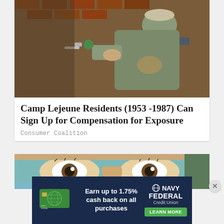[Figure (photo): Military soldier in camouflage uniform and cap working on pipe fittings on a brick wall]
Camp Lejeune Residents (1953 -1987) Can Sign Up for Compensation for Exposure
Consumer Coalition
[Figure (photo): Close-up of a person's eyes looking upward with blue face covering]
[Figure (infographic): Navy Federal Credit Union advertisement: Earn up to 1.75% cash back on all purchases. LEARN MORE button.]